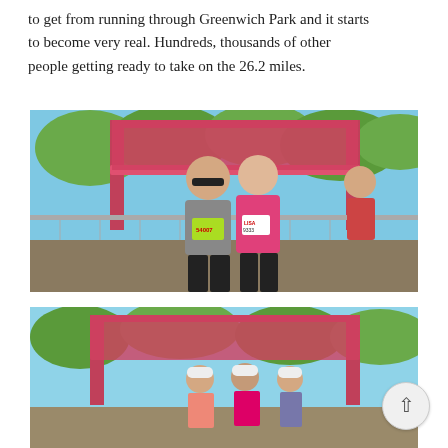together running through Greenwich Park and it starts to become very real. Hundreds, thousands of other people getting ready to take on the 26.2 miles.
[Figure (photo): Two women posing together in front of a pink marathon arch/start gate in a park. One wears a green bib number 54007 and the other wears a pink jacket with bib number 9333 (LISA). Trees and other runners/crowd visible in background.]
[Figure (photo): Partial view of another photo showing runners in white caps near a pink marathon arch/start gate in a park, similar setting to the photo above. Image is cropped at the bottom of the page.]